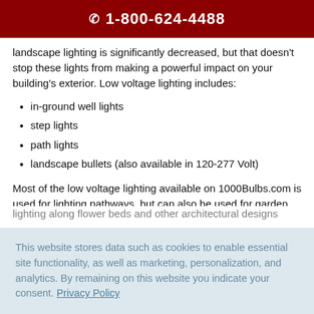☎ 1-800-624-4488
landscape lighting is significantly decreased, but that doesn't stop these lights from making a powerful impact on your building's exterior. Low voltage lighting includes:
in-ground well lights
step lights
path lights
landscape bullets (also available in 120-277 Volt)
Most of the low voltage lighting available on 1000Bulbs.com is used for lighting pathways, but can also be used for garden lighting along flower beds and other architectural designs.
This website stores data such as cookies to enable essential site functionality, as well as marketing, personalization, and analytics. By remaining on this website you indicate your consent. Privacy Policy